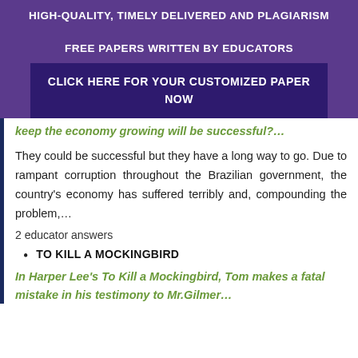HIGH-QUALITY, TIMELY DELIVERED AND PLAGIARISM FREE PAPERS WRITTEN BY EDUCATORS
CLICK HERE FOR YOUR CUSTOMIZED PAPER NOW
keep the economy growing will be successful?…
They could be successful but they have a long way to go. Due to rampant corruption throughout the Brazilian government, the country's economy has suffered terribly and, compounding the problem,…
2 educator answers
TO KILL A MOCKINGBIRD
In Harper Lee's To Kill a Mockingbird, Tom makes a fatal mistake in his testimony to Mr.Gilmer…